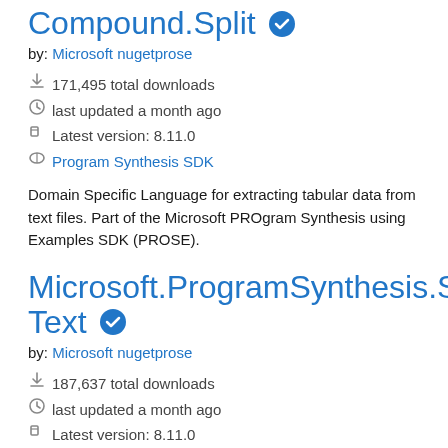Compound.Split ✓
by: Microsoft nugetprose
171,495 total downloads
last updated a month ago
Latest version: 8.11.0
Program Synthesis SDK
Domain Specific Language for extracting tabular data from text files. Part of the Microsoft PROgram Synthesis using Examples SDK (PROSE).
Microsoft.ProgramSynthesis.Split.Text ✓
by: Microsoft nugetprose
187,637 total downloads
last updated a month ago
Latest version: 8.11.0
Program Synthesis SDK
Domain Specific Language for splitting text into substrings. Part of the Microsoft PROgram Synthesis using Examples